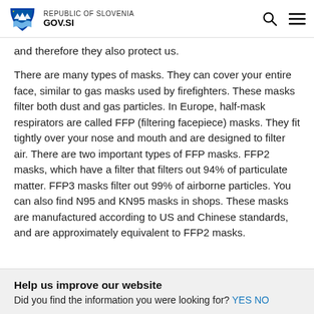REPUBLIC OF SLOVENIA GOV.SI
and therefore they also protect us.
There are many types of masks. They can cover your entire face, similar to gas masks used by firefighters. These masks filter both dust and gas particles. In Europe, half-mask respirators are called FFP (filtering facepiece) masks. They fit tightly over your nose and mouth and are designed to filter air. There are two important types of FFP masks. FFP2 masks, which have a filter that filters out 94% of particulate matter. FFP3 masks filter out 99% of airborne particles. You can also find N95 and KN95 masks in shops. These masks are manufactured according to US and Chinese standards, and are approximately equivalent to FFP2 masks.
Help us improve our website
Did you find the information you were looking for? YES NO